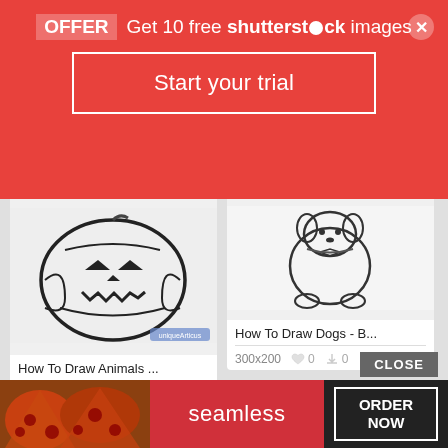[Figure (screenshot): Shutterstock promotional banner with red background, 'OFFER Get 10 free shutterstock images' text and 'Start your trial' button]
[Figure (illustration): Drawing of a jack-o-lantern pumpkin, black and white sketch style]
How To Draw Animals ...
840x840   0   0
[Figure (illustration): Drawing of a dog sitting, black and white sketch with bow tie]
How To Draw Dogs - B...
300x200   0   0
[Figure (illustration): Cartoon gray bulldog character with angry expression]
[Figure (illustration): Black and white sketch of a cartoon dog looking happy]
[Figure (advertisement): Seamless food delivery advertisement with pizza image, ORDER NOW button and CLOSE label]